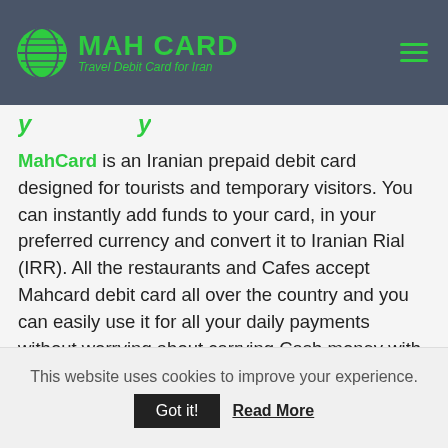MAH CARD Travel Debit Card for Iran
y...y
MahCard is an Iranian prepaid debit card designed for tourists and temporary visitors. You can instantly add funds to your card, in your preferred currency and convert it to Iranian Rial (IRR). All the restaurants and Cafes accept Mahcard debit card all over the country and you can easily use it for all your daily payments without worrying about carrying Cash money with you. You can also pay Persian Traditional Music Concerts tickets, using Machcard.
This website uses cookies to improve your experience.
Got it! Read More